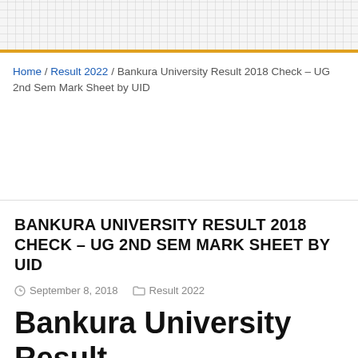Home / Result 2022 / Bankura University Result 2018 Check – UG 2nd Sem Mark Sheet by UID
BANKURA UNIVERSITY RESULT 2018 CHECK – UG 2ND SEM MARK SHEET BY UID
September 8, 2018  Result 2022
Bankura University Result